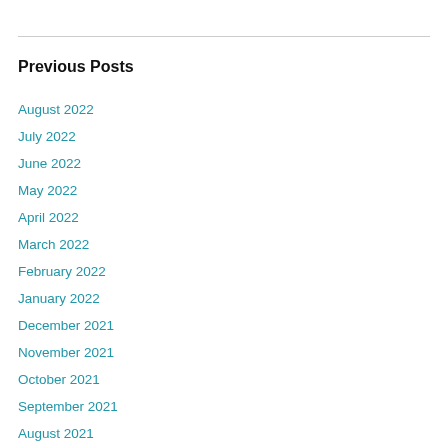Previous Posts
August 2022
July 2022
June 2022
May 2022
April 2022
March 2022
February 2022
January 2022
December 2021
November 2021
October 2021
September 2021
August 2021
July 2021
June 2021
May 2021